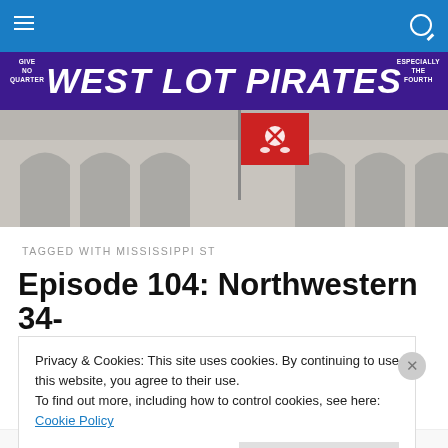[Figure (screenshot): West Lot Pirates website banner with purple header bar reading 'GIVE NO QUARTER' on the left, 'WEST LOT PIRATES' in large white bold italic text in the center, and 'ESPECIALLY THE FOURTH' on the right. Below is a photo of a building with arches and a red pirate flag.]
TAGGED WITH MISSISSIPPI ST
Episode 104: Northwestern 34-
Privacy & Cookies: This site uses cookies. By continuing to use this website, you agree to their use.
To find out more, including how to control cookies, see here: Cookie Policy
Close and accept